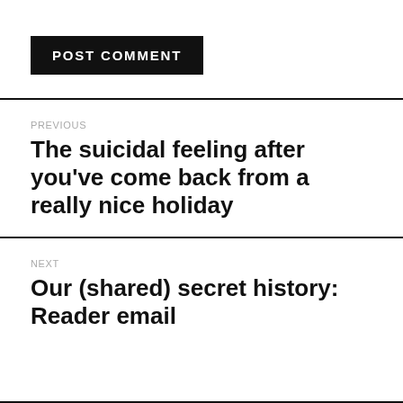POST COMMENT
PREVIOUS
The suicidal feeling after you've come back from a really nice holiday
NEXT
Our (shared) secret history: Reader email